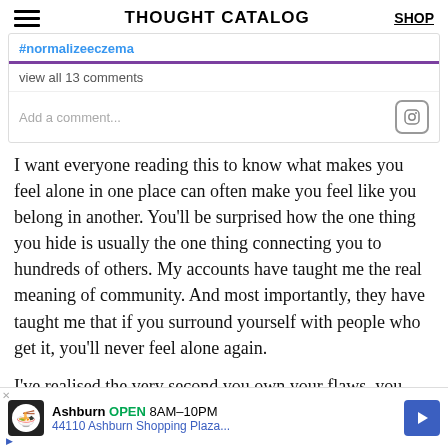THOUGHT CATALOG | SHOP
#normalizeeczema
view all 13 comments
Add a comment...
I want everyone reading this to know what makes you feel alone in one place can often make you feel like you belong in another. You’ll be surprised how the one thing you hide is usually the one thing connecting you to hundreds of others. My accounts have taught me the real meaning of community. And most importantly, they have taught me that if you surround yourself with people who get it, you’ll never feel alone again.
I’ve realised the very second you own your flaws, you become untouchable. No one can hurt you anymore because...d taking...it’s
Ashburn OPEN 8AM–10PM 44110 Ashburn Shopping Plaza...